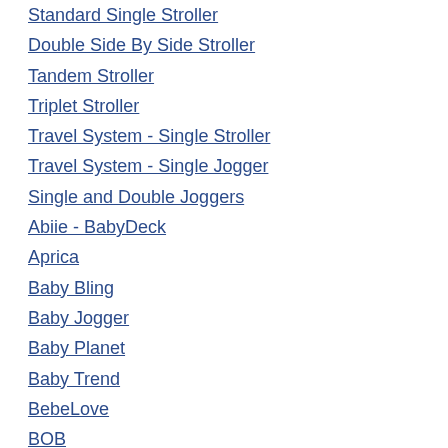Standard Single Stroller
Double Side By Side Stroller
Tandem Stroller
Triplet Stroller
Travel System - Single Stroller
Travel System - Single Jogger
Single and Double Joggers
Abiie - BabyDeck
Aprica
Baby Bling
Baby Jogger
Baby Planet
Baby Trend
BebeLove
BOB
Britax
Bugaboo
Bumbleride
Chicco
Combi
Cosco
Cybex
Eddie Bauer